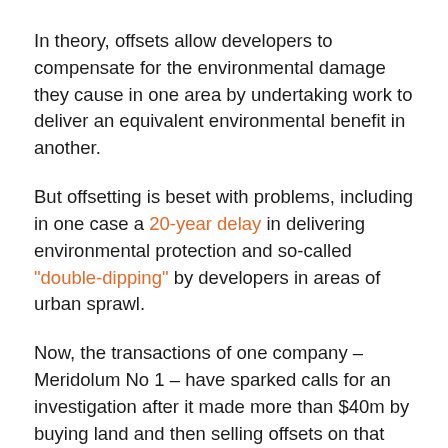In theory, offsets allow developers to compensate for the environmental damage they cause in one area by undertaking work to deliver an equivalent environmental benefit in another.
But offsetting is beset with problems, including in one case a 20-year delay in delivering environmental protection and so-called "double-dipping" by developers in areas of urban sprawl.
Now, the transactions of one company – Meridolum No 1 – have sparked calls for an investigation after it made more than $40m by buying land and then selling offsets on that land to government. The offsets were for infrastructure projects that a consulting firm that employed two of Meridolum's